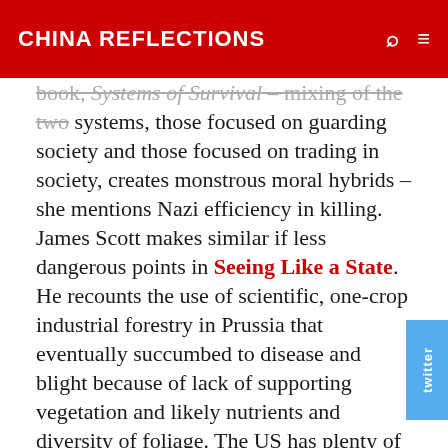CHINA REFLECTIONS
book, Systems of Survival – mixing of the two systems, those focused on guarding society and those focused on trading in society, creates monstrous moral hybrids – she mentions Nazi efficiency in killing. James Scott makes similar if less dangerous points in Seeing Like a State. He recounts the use of scientific, one-crop industrial forestry in Prussia that eventually succumbed to disease and blight because of lack of supporting vegetation and likely nutrients and diversity of foliage. The US has plenty of its own examples – private prisons, regulatory capture of Washington by Wall Street. But de Tocqueville commented on the lack of necessary relation between wealth and power in the US.  (Democracy in America, page 634).  In China, the mixing of the two is built in